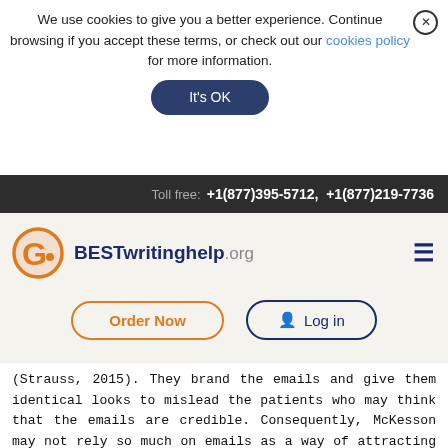We use cookies to give you a better experience. Continue browsing if you accept these terms, or check out our cookies policy for more information.
It's OK
Toll free: +1(877)395-5712, +1(877)219-7736
[Figure (logo): BESTwritinghelp.org logo with orange circular G icon]
Order Now
Log in
(Strauss, 2015). They brand the emails and give them identical looks to mislead the patients who may think that the emails are credible. Consequently, McKesson may not rely so much on emails as a way of attracting patients, but if it uses emails, then the company may utilize tamperproof brands. Most importantly, the company will prioritize password authentication and assess the level of patient exposure that should the passwords be compromised.